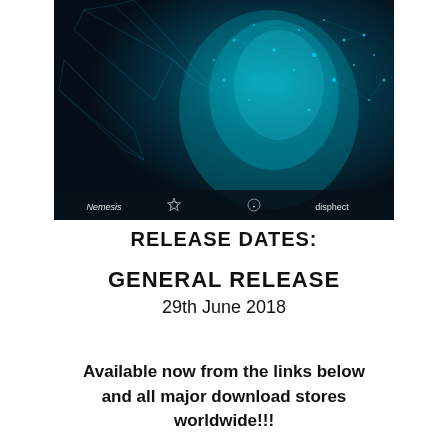[Figure (illustration): Dark digital artwork showing a glowing blue wireframe/holographic figure or face with teal and cyan particles and geometric lines on a dark background. At the bottom of the image are logos: Nemesis, a star-badge logo, a circular logo, and 'disphect'.]
RELEASE DATES:
GENERAL RELEASE
29th June 2018
Available now from the links below and all major download stores worldwide!!!